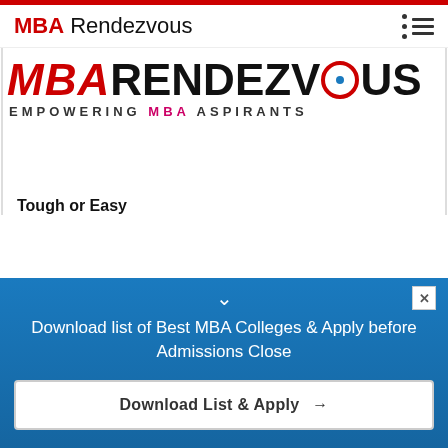MBA Rendezvous
[Figure (logo): MBA Rendezvous logo with red MBA text, black RENDEZVOUS text with eye graphic replacing O, and subtitle EMPOWERING MBA ASPIRANTS]
Tough or Easy
Download list of Best MBA Colleges & Apply before Admissions Close
Download List & Apply →